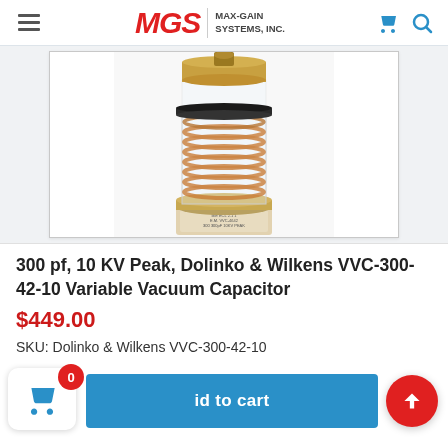MGS MAX-GAIN SYSTEMS, INC.
[Figure (photo): Dolinko & Wilkens VVC-300-42-10 Variable Vacuum Capacitor — cylindrical component with copper coil windings visible through a glass envelope, brass end caps, shown vertically on white background.]
300 pf, 10 KV Peak, Dolinko & Wilkens VVC-300-42-10 Variable Vacuum Capacitor
$449.00
SKU: Dolinko & Wilkens VVC-300-42-10